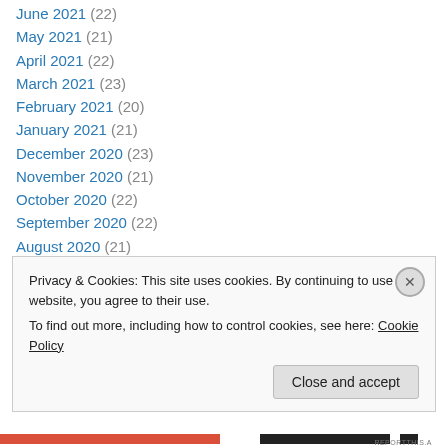June 2021 (22)
May 2021 (21)
April 2021 (22)
March 2021 (23)
February 2021 (20)
January 2021 (21)
December 2020 (23)
November 2020 (21)
October 2020 (22)
September 2020 (22)
August 2020 (21)
July 2020 (23)
June 2020 (22)
May 2020 (21)
Privacy & Cookies: This site uses cookies. By continuing to use this website, you agree to their use. To find out more, including how to control cookies, see here: Cookie Policy
Close and accept